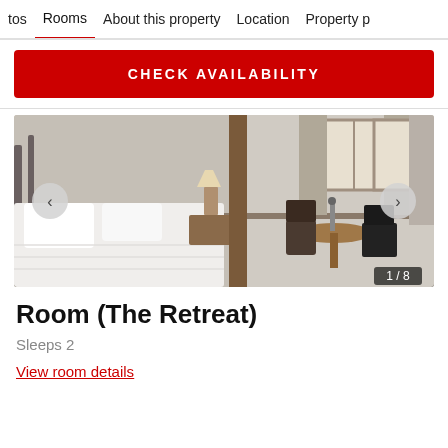tos   Rooms   About this property   Location   Property p
CHECK AVAILABILITY
[Figure (photo): Hotel room photo showing a four-poster bed with white bedding, decorative metal headboard, nightstand with lamp, a small round table with chairs, and curtained windows. Image counter shows 1/8.]
Room (The Retreat)
Sleeps 2
View room details